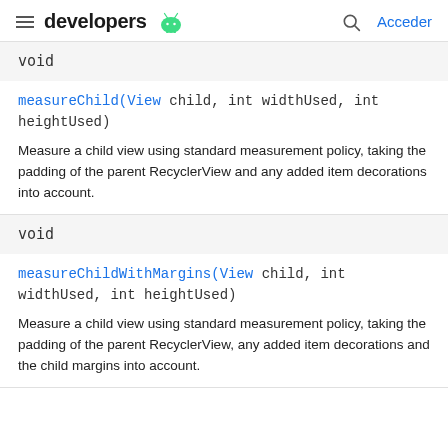developers  Acceder
void
measureChild(View child, int widthUsed, int heightUsed)
Measure a child view using standard measurement policy, taking the padding of the parent RecyclerView and any added item decorations into account.
void
measureChildWithMargins(View child, int widthUsed, int heightUsed)
Measure a child view using standard measurement policy, taking the padding of the parent RecyclerView, any added item decorations and the child margins into account.